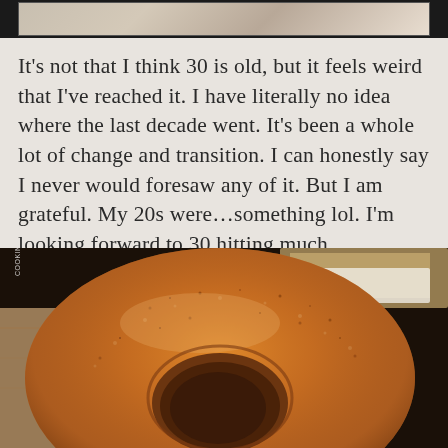[Figure (photo): Top portion of a photo partially visible — appears to be a mug or cup on a light background, cropped at the top edge]
It's not that I think 30 is old, but it feels weird that I've reached it. I have literally no idea where the last decade went. It's been a whole lot of change and transition. I can honestly say I never would foresaw any of it. But I am grateful. My 20s were…something lol. I'm looking forward to 30 hitting much differently.
[Figure (photo): Close-up photo of a large cinnamon-sugar coated donut or bundt cake on a wooden surface, with a watermark reading COOKINGISMYSPORT.COM]